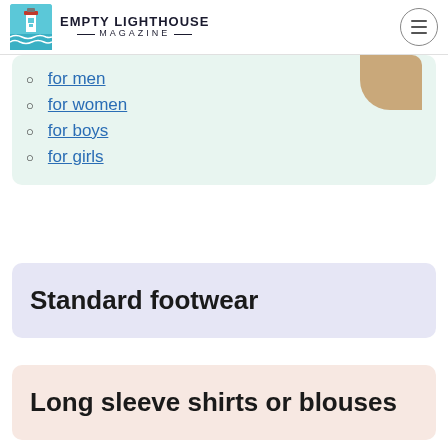Empty Lighthouse Magazine
for men
for women
for boys
for girls
Standard footwear
Long sleeve shirts or blouses